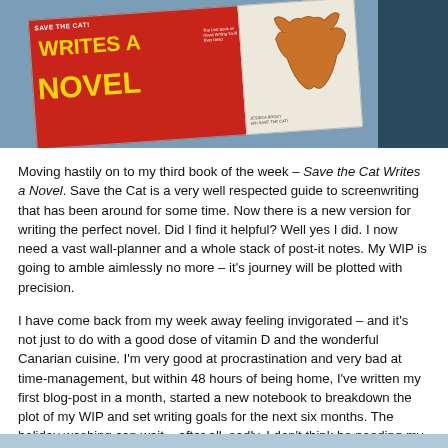[Figure (photo): Photograph of a book titled 'Save the Cat! Writes a Novel' held against a blue background. The book cover is red with yellow bold text reading 'WRITES A NOVEL'.]
Moving hastily on to my third book of the week – Save the Cat Writes a Novel. Save the Cat is a very well respected guide to screenwriting that has been around for some time. Now there is a new version for writing the perfect novel. Did I find it helpful? Well yes I did. I now need a vast wall-planner and a whole stack of post-it notes. My WIP is going to amble aimlessly no more – it's journey will be plotted with precision.
I have come back from my week away feeling invigorated – and it's not just to do with a good dose of vitamin D and the wonderful Canarian cuisine. I'm very good at procrastination and very bad at time-management, but within 48 hours of being home, I've written my first blog-post in a month, started a new notebook to breakdown the plot of my WIP and set writing goals for the next six months. The holiday washing can wait – after all, sadly, I don't think be needing my bikini again anytime soon…